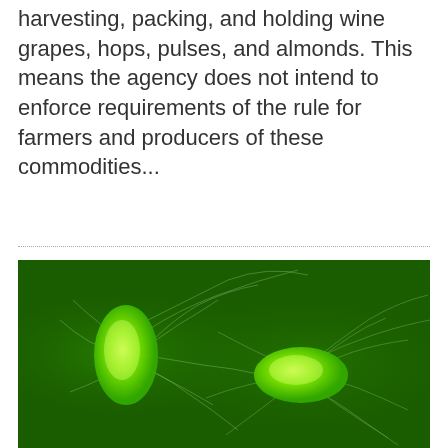harvesting, packing, and holding wine grapes, hops, pulses, and almonds. This means the agency does not intend to enforce requirements of the rule for farmers and producers of these commodities...
[Figure (photo): Green glowing bacteria cells with flagella on a dark green background. Two bacterial cells are visible with thread-like projections extending outward.]